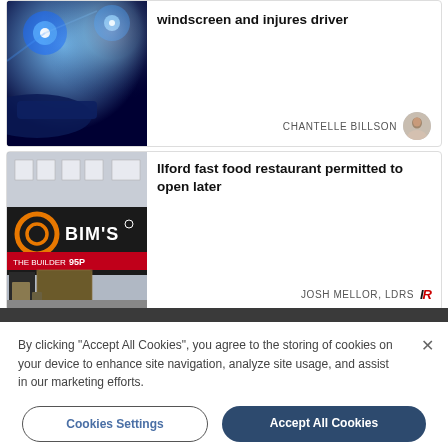[Figure (photo): Partial top article showing police car with blue lights at night]
windscreen and injures driver
CHANTELLE BILLSON
Ilford fast food restaurant permitted to open later
[Figure (photo): BIM's fast food restaurant exterior with orange logo on dark shopfront]
JOSH MELLOR, LDRS
By clicking "Accept All Cookies", you agree to the storing of cookies on your device to enhance site navigation, analyze site usage, and assist in our marketing efforts.
Cookies Settings
Accept All Cookies